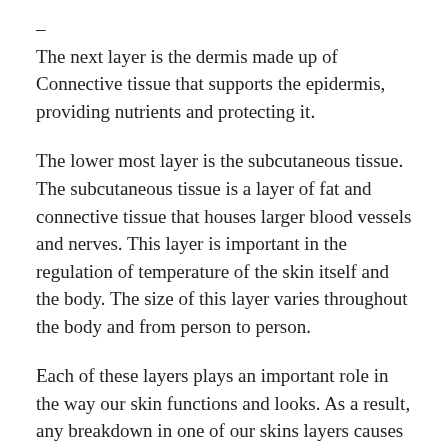–
The next layer is the dermis made up of Connective tissue that supports the epidermis, providing nutrients and protecting it.
The lower most layer is the subcutaneous tissue. The subcutaneous tissue is a layer of fat and connective tissue that houses larger blood vessels and nerves. This layer is important in the regulation of temperature of the skin itself and the body. The size of this layer varies throughout the body and from person to person.
Each of these layers plays an important role in the way our skin functions and looks. As a result, any breakdown in one of our skins layers causes various skin issues that we are all familiar with; be it acne